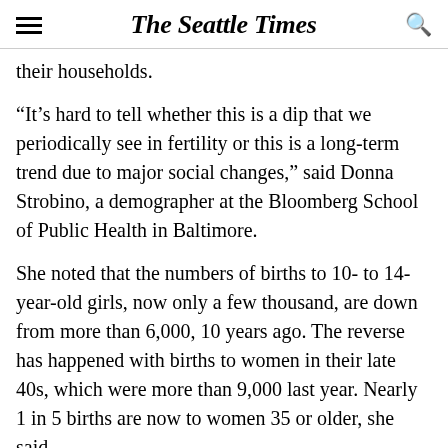The Seattle Times
their households.
“It’s hard to tell whether this is a dip that we periodically see in fertility or this is a long-term trend due to major social changes,” said Donna Strobino, a demographer at the Bloomberg School of Public Health in Baltimore.
She noted that the numbers of births to 10- to 14-year-old girls, now only a few thousand, are down from more than 6,000, 10 years ago. The reverse has happened with births to women in their late 40s, which were more than 9,000 last year. Nearly 1 in 5 births are now to women 35 or older, she said.
It could be that the new generation of millennial women is delaying having children even longer than